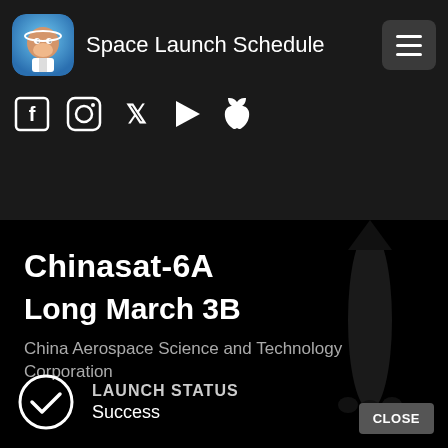Space Launch Schedule
[Figure (screenshot): App logo icon — cartoon monkey astronaut on circular background]
[Figure (infographic): Social media icons: Facebook, Instagram, Twitter, Google Play, Apple]
Chinasat-6A
Long March 3B
China Aerospace Science and Technology Corporation
LAUNCH STATUS
Success
[Figure (illustration): Dark background with faint rocket silhouette visible on the right side]
CLOSE